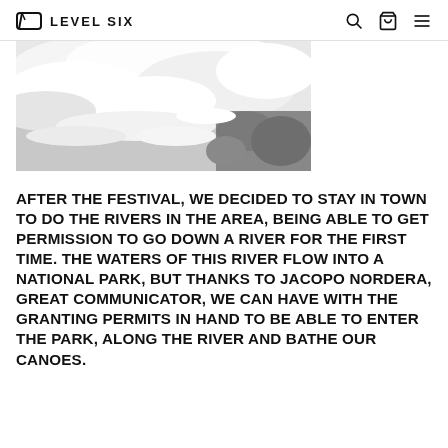LEVEL SIX
[Figure (photo): Whitewater rapids photo showing white foamy water and rocky riverbank]
AFTER THE FESTIVAL, WE DECIDED TO STAY IN TOWN TO DO THE RIVERS IN THE AREA, BEING ABLE TO GET PERMISSION TO GO DOWN A RIVER FOR THE FIRST TIME. THE WATERS OF THIS RIVER FLOW INTO A NATIONAL PARK, BUT THANKS TO JACOPO NORDERA, GREAT COMMUNICATOR, WE CAN HAVE WITH THE GRANTING PERMITS IN HAND TO BE ABLE TO ENTER THE PARK, ALONG THE RIVER AND BATHE OUR CANOES.